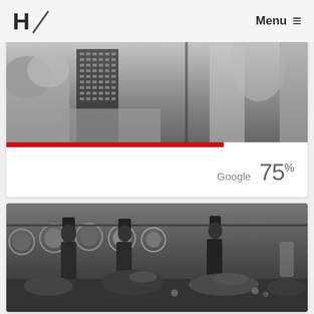H / Menu ≡
[Figure (photo): Grayscale cityscape photo showing tall buildings and foliage, with a red progress bar below it and a Google 75% indicator]
Google  75%
[Figure (photo): Black and white photo of chefs in tall hats working at a large food preparation table with multiple dishes and decorative arrangements]